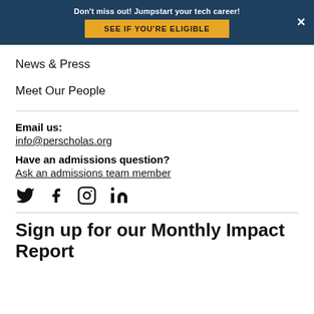Don't miss out! Jumpstart your tech career! SEE IF YOU'RE ELIGIBLE
News & Press
Meet Our People
Email us: info@perscholas.org
Have an admissions question? Ask an admissions team member
[Figure (other): Social media icons: Twitter, Facebook, Instagram, LinkedIn]
Sign up for our Monthly Impact Report